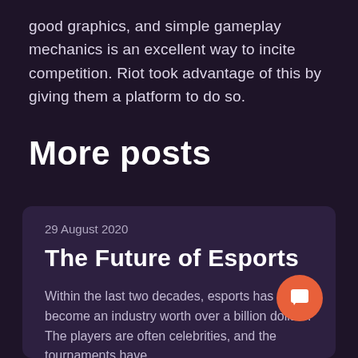good graphics, and simple gameplay mechanics is an excellent way to incite competition. Riot took advantage of this by giving them a platform to do so.
More posts
29 August 2020
The Future of Esports
Within the last two decades, esports has become an industry worth over a billion dollars. The players are often celebrities, and the tournaments have